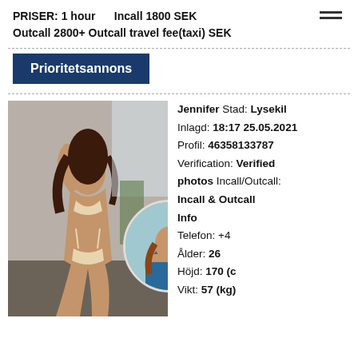PRISER: 1 hour   Incall 1800 SEK
Outcall 2800+ Outcall travel fee(taxi) SEK
Prioritetsannons
[Figure (photo): Photo of a woman in lingerie posing on a couch, with a circular thumbnail photo overlaid at bottom right showing another pose]
Jennifer Stad: Lysekil
Inlagd: 18:17 25.05.2021
Profil: 46358133787
Verification: Verified photos Incall/Outcall: Incall & Outcall
Info
Telefon: +4...
Ålder: 26
Höjd: 170 (c...)
Vikt: 57 (kg)